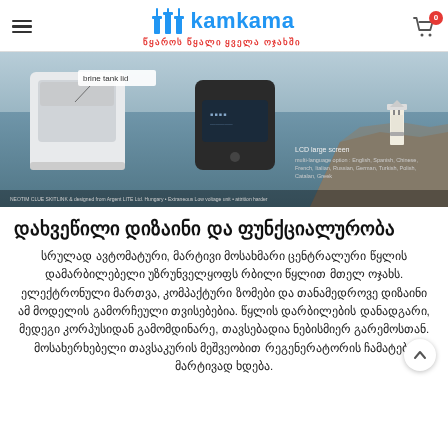kamkama — წყაროს წყალი ყველა ოჯახში
[Figure (photo): Product banner showing a water softener device with brine tank lid label, a control panel with LCD screen, and a lighthouse on a cliff by the sea in the background.]
დახვეწილი დიზაინი და ფუნქციალურობა
სრულად ავტომატური, მარტივი მოსახმარი ცენტრალური წყლის დამარბილებელი უზრუნველყოფს რბილი წყლით მთელ ოჯახს. ელექტრონული მართვა, კომპაქტური ზომები და თანამედროვე დიზაინი ამ მოდელის გამორჩეული თვისებებია. წყლის დარბილების დანადგარი, მედეგი კორპუსიდან გამომდინარე, თავსებადია ნებისმიერ გარემოსთან. მოსახერხებელი თავსაკურის მეშვეობით რეგენერატორის ჩამატება მარტივად ხდება.